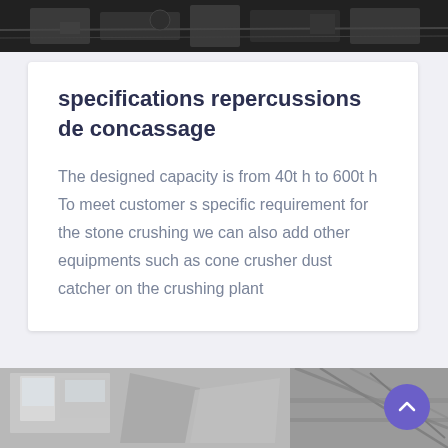[Figure (photo): Industrial machinery photograph, dark monochrome, top of page]
specifications repercussions de concassage
The designed capacity is from 40t h to 600t h To meet customer s specific requirement for the stone crushing we can also add other equipments such as cone crusher dust catcher on the crushing plant
[Figure (photo): Industrial crushing plant interior photograph, showing conveyor equipment and steel frame structure]